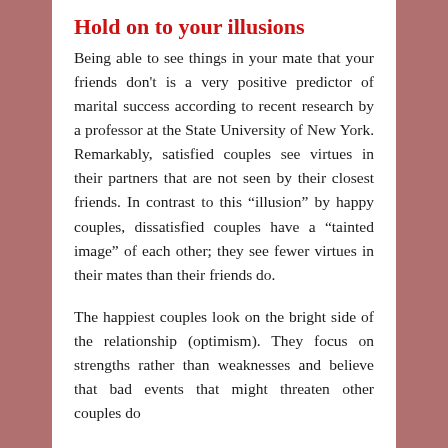Hold on to your illusions
Being able to see things in your mate that your friends don't is a very positive predictor of marital success according to recent research by a professor at the State University of New York. Remarkably, satisfied couples see virtues in their partners that are not seen by their closest friends. In contrast to this “illusion” by happy couples, dissatisfied couples have a “tainted image” of each other; they see fewer virtues in their mates than their friends do.
The happiest couples look on the bright side of the relationship (optimism). They focus on strengths rather than weaknesses and believe that bad events that might threaten other couples do